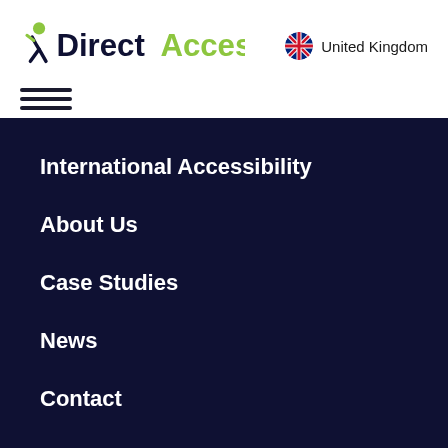[Figure (logo): DirectAccess logo with figure icon on left in dark navy and green, text 'Direct' in dark navy bold and 'Access' in lime green bold]
United Kingdom
[Figure (other): Hamburger menu icon with three horizontal lines]
International Accessibility
About Us
Case Studies
News
Contact
Privacy Policy